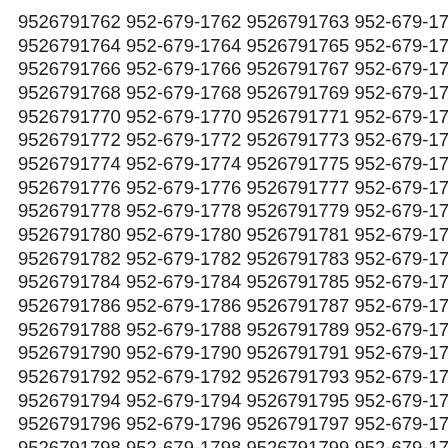9526791762 952-679-1762 9526791763 952-679-1763 9526791764 952-679-1764 9526791765 952-679-1765 9526791766 952-679-1766 9526791767 952-679-1767 9526791768 952-679-1768 9526791769 952-679-1769 9526791770 952-679-1770 9526791771 952-679-1771 9526791772 952-679-1772 9526791773 952-679-1773 9526791774 952-679-1774 9526791775 952-679-1775 9526791776 952-679-1776 9526791777 952-679-1777 9526791778 952-679-1778 9526791779 952-679-1779 9526791780 952-679-1780 9526791781 952-679-1781 9526791782 952-679-1782 9526791783 952-679-1783 9526791784 952-679-1784 9526791785 952-679-1785 9526791786 952-679-1786 9526791787 952-679-1787 9526791788 952-679-1788 9526791789 952-679-1789 9526791790 952-679-1790 9526791791 952-679-1791 9526791792 952-679-1792 9526791793 952-679-1793 9526791794 952-679-1794 9526791795 952-679-1795 9526791796 952-679-1796 9526791797 952-679-1797 9526791798 952-679-1798 9526791799 952-679-1799